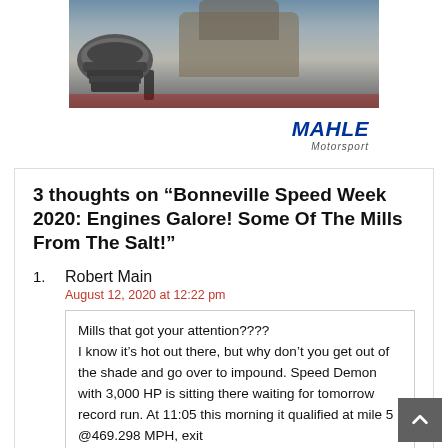[Figure (photo): Advertisement banner for MAHLE Motorsport showing a vintage truck at a drag strip and a piston in the foreground, with the MAHLE Motorsport logo.]
3 thoughts on “Bonneville Speed Week 2020: Engines Galore! Some Of The Mills From The Salt!”
Robert Main
August 12, 2020 at 12:22 pm
Mills that got your attention???? I know it’s hot out there, but why don’t you get out of the shade and go over to impound. Speed Demon with 3,000 HP is sitting there waiting for tomorrow record run. At 11:05 this morning it qualified at mile 5 @469.298 MPH, exit